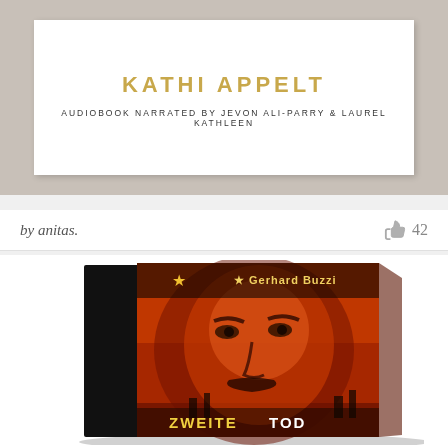[Figure (photo): Book card for Kathi Appelt audiobook narrated by Jevon Ali-Parry and Laurel Kathleen, displayed against a wooden/gray textured background]
by anitas.
42
[Figure (photo): Book cover for 'Der zweite TOD des CHE' by Gerhard Buzzi, showing a man's face with dramatic red/orange coloring, with a gold star logo, displayed as a 3D book mockup]